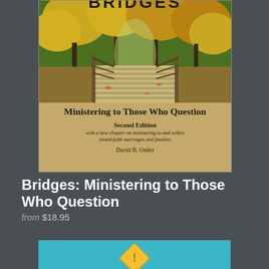[Figure (illustration): Book cover for 'Bridges: Ministering to Those Who Question' by David B. Ostler. Second Edition. Shows a wooden footbridge in an autumn forest setting with yellow/orange foliage. Cover has tan/gold background with subtitle about a new chapter on ministering to and within mixed-faith marriages and families.]
Bridges: Ministering to Those Who Question
from $18.95
[Figure (illustration): Partial view of a second book cover with teal/blue background, partially cut off at bottom of page.]